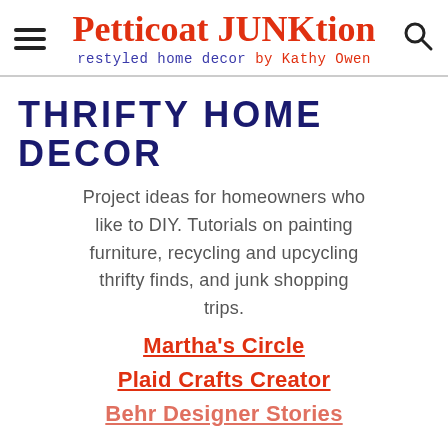Petticoat JUNKtion restyled home decor by Kathy Owen
THRIFTY HOME DECOR
Project ideas for homeowners who like to DIY. Tutorials on painting furniture, recycling and upcycling thrifty finds, and junk shopping trips.
Martha's Circle
Plaid Crafts Creator
Behr Designer Stories